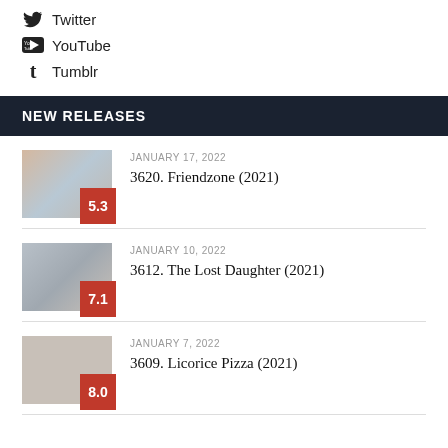Twitter
YouTube
Tumblr
NEW RELEASES
JANUARY 17, 2022
3620. Friendzone (2021)
JANUARY 10, 2022
3612. The Lost Daughter (2021)
JANUARY 7, 2022
3609. Licorice Pizza (2021)